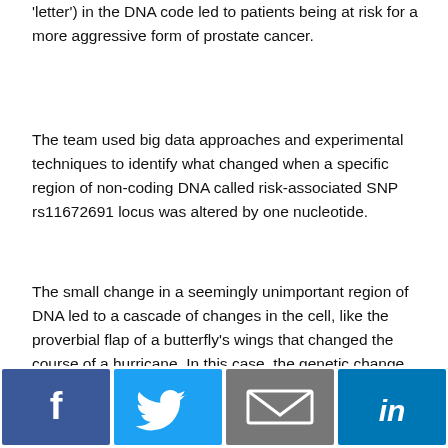'letter') in the DNA code led to patients being at risk for a more aggressive form of prostate cancer.
The team used big data approaches and experimental techniques to identify what changed when a specific region of non-coding DNA called risk-associated SNP rs11672691 locus was altered by one nucleotide.
The small change in a seemingly unimportant region of DNA led to a cascade of changes in the cell, like the proverbial flap of a butterfly's wings that changed the course of a hurricane. In this case, the genetic change ultimately affected a set of other genes that are related to prostate cancer cell growth and spread.
This work helps clarify the importance of some single
[Figure (other): Social sharing buttons: Facebook, Twitter, Email, LinkedIn]